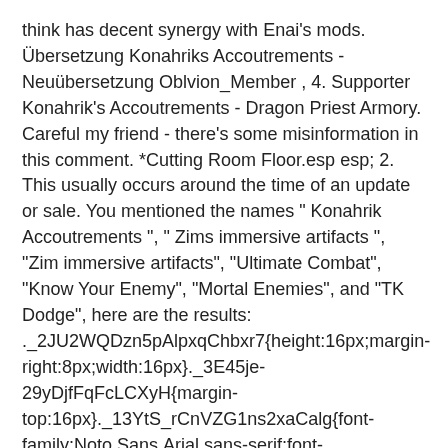think has decent synergy with Enai's mods. Übersetzung Konahriks Accoutrements - Neuübersetzung Oblvion_Member , 4. Supporter Konahrik's Accoutrements - Dragon Priest Armory. Careful my friend - there's some misinformation in this comment. *Cutting Room Floor.esp esp; 2. This usually occurs around the time of an update or sale. You mentioned the names " Konahrik Accoutrements ", " Zims immersive artifacts ", "Zim immersive artifacts", "Ultimate Combat", "Know Your Enemy", "Mortal Enemies", and "TK Dodge", here are the results: ._2JU2WQDzn5pAlpxqChbxr7{height:16px;margin-right:8px;width:16px}._3E45je-29yDjfFqFcLCXyH{margin-top:16px}._13YtS_rCnVZG1ns2xaCalg{font-family:Noto Sans,Arial,sans-serif;font-size:14px;font-weight:400;line-height:18px;display:-ms-flexbox;display:flex}._1m5fPZN4q3vKVg9SgU43u2{margin-top:12px}._17A-IdW3j1_fl_pN-8tMV-{display:inline-block;margin-bottom:8px;margin-top:8px;